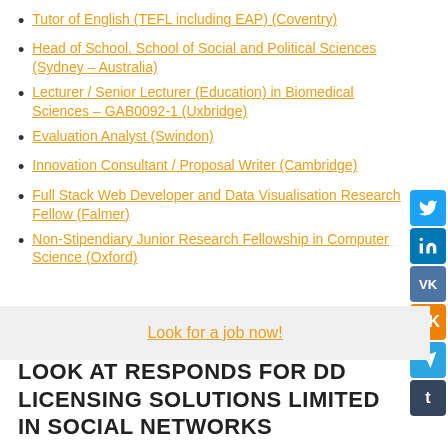Tutor of English (TEFL including EAP) (Coventry)
Head of School, School of Social and Political Sciences (Sydney – Australia)
Lecturer / Senior Lecturer (Education) in Biomedical Sciences – GAB0092-1 (Uxbridge)
Evaluation Analyst (Swindon)
Innovation Consultant / Proposal Writer (Cambridge)
Full Stack Web Developer and Data Visualisation Research Fellow (Falmer)
Non-Stipendiary Junior Research Fellowship in Computer Science (Oxford)
Look for a job now!
LOOK AT RESPONDS FOR DD LICENSING SOLUTIONS LIMITED IN SOCIAL NETWORKS